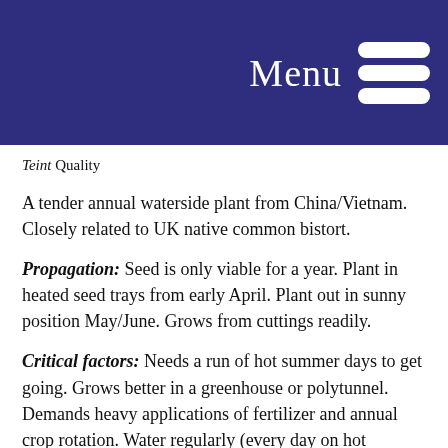Menu
Teint Quality
A tender annual waterside plant from China/Vietnam. Closely related to UK native common bistort.
Propagation: Seed is only viable for a year. Plant in heated seed trays from early April. Plant out in sunny position May/June. Grows from cuttings readily.
Critical factors: Needs a run of hot summer days to get going. Grows better in a greenhouse or polytunnel. Demands heavy applications of fertilizer and annual crop rotation. Water regularly (every day on hot summer days). Long growing season and mild autumn